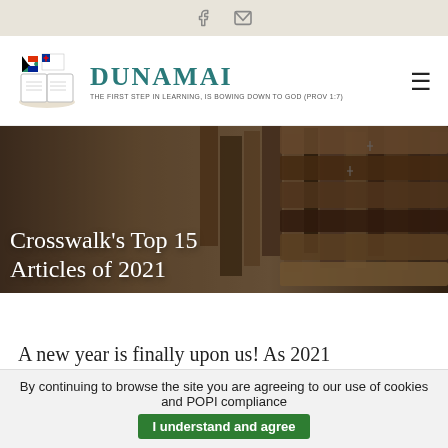Social icons: Facebook, Email
[Figure (logo): Dunamai site logo with South African and Christian flags over an open Bible, beside the text DUNAMAI and tagline THE FIRST STEP IN LEARNING, IS BOWING DOWN TO GOD (PROV 1:7)]
[Figure (photo): Stack of old leather-bound books, background image for hero section]
Crosswalk's Top 15 Articles of 2021
A new year is finally upon us! As 2021
By continuing to browse the site you are agreeing to our use of cookies and POPI compliance  I understand and agree